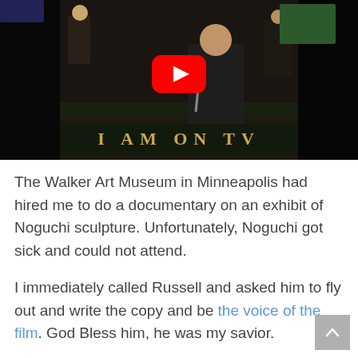[Figure (screenshot): YouTube video thumbnail showing a man at a podium/hearing room with text 'I AM ON TV' at the bottom and a red YouTube play button in the center. Background shows other people in what appears to be a council chamber or television studio.]
The Walker Art Museum in Minneapolis had hired me to do a documentary on an exhibit of Noguchi sculpture. Unfortunately, Noguchi got sick and could not attend.
I immediately called Russell and asked him to fly out and write the copy and be the voice of the film. God Bless him, he was my savior.